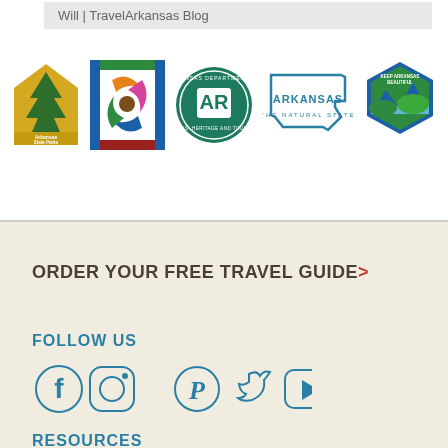Will | TravelArkansas Blog
[Figure (logo): Arkansas State Parks logo - house/tree shape with gold color and green tree]
[Figure (logo): Colorful geometric swirl logo with blue, orange, green, pink, brown on white/red/green striped background]
[Figure (logo): Arkansas Department of Parks, Heritage and Tourism circular green seal with AR monogram]
[Figure (logo): Arkansas The Natural State - outline of state of Arkansas in teal/blue]
[Figure (logo): Keep Arkansas Beautiful hexagonal badge logo with scenic landscape]
ORDER YOUR FREE TRAVEL GUIDE>
FOLLOW US
[Figure (infographic): Social media icons: Facebook, Instagram, Pinterest, Twitter, YouTube in teal/blue outline style]
RESOURCES